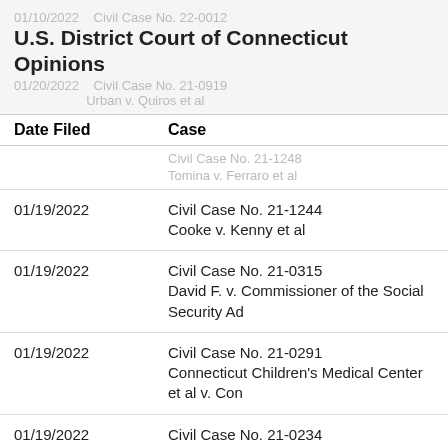U.S. District Court of Connecticut Opinions
| Date Filed | Case |
| --- | --- |
| 01/19/2022 | Civil Case No. 21-1244
Cooke v. Kenny et al |
| 01/19/2022 | Civil Case No. 21-0315
David F. v. Commissioner of the Social Security Ad |
| 01/19/2022 | Civil Case No. 21-0291
Connecticut Children's Medical Center et al v. Con |
| 01/19/2022 | Civil Case No. 21-0234
Stevenson v. Quiros et al |
| 01/19/2022 | Civil Case No. 21-0120
Kissel v. Seagull |
| 01/19/2022 | Civil Case No. 20-1764
Lisa T. v. Saul |